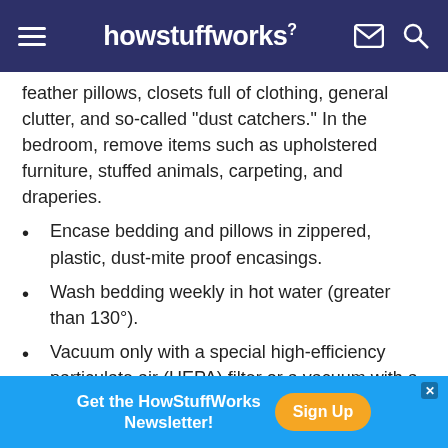howstuffworks
feather pillows, closets full of clothing, general clutter, and so-called "dust catchers." In the bedroom, remove items such as upholstered furniture, stuffed animals, carpeting, and draperies.
Encase bedding and pillows in zippered, plastic, dust-mite proof encasings.
Wash bedding weekly in hot water (greater than 130°).
Vacuum only with a special high-efficiency particulate air (HEPA) filter or a vacuum with a double-filter bag.
Get the HowStuffWorks Newsletter! Sign Up